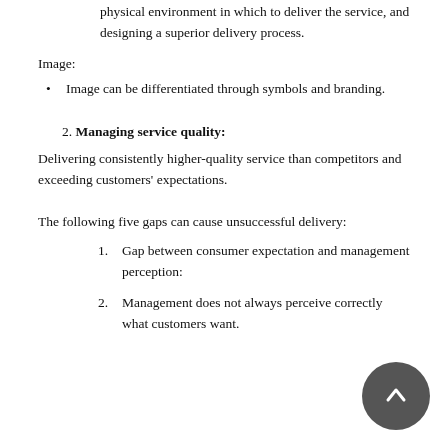people to deliver its service, developing a more attractive physical environment in which to deliver the service, and designing a superior delivery process.
Image:
Image can be differentiated through symbols and branding.
2. Managing service quality:
Delivering consistently higher-quality service than competitors and exceeding customers' expectations.
The following five gaps can cause unsuccessful delivery:
1. Gap between consumer expectation and management perception:
2. Management does not always perceive correctly what customers want.